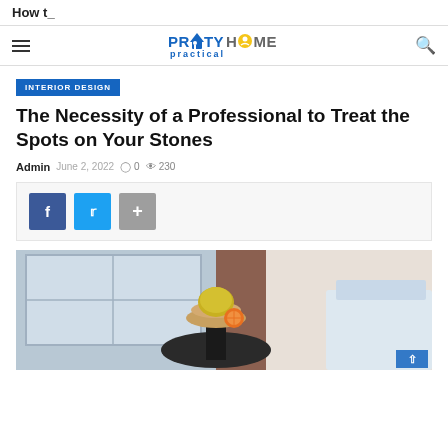How t_
[Figure (logo): Pretty Practical Home logo with hamburger menu and search icon]
INTERIOR DESIGN
The Necessity of a Professional to Treat the Spots on Your Stones
Admin   June 2, 2022   0   230
[Figure (infographic): Social share bar with Facebook, Twitter, and plus buttons]
[Figure (photo): Interior room scene showing a round black table with a bowl containing a yellow fruit and a half orange slice, with a window and brown curtains in the background]